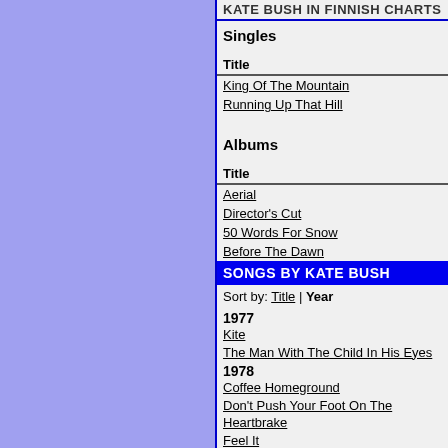KATE BUSH IN FINNISH CHARTS
Singles
Title
King Of The Mountain
Running Up That Hill
Albums
Title
Aerial
Director's Cut
50 Words For Snow
Before The Dawn
SONGS BY KATE BUSH
Sort by: Title | Year
1977
Kite
The Man With The Child In His Eyes
1978
Coffee Homeground
Don't Push Your Foot On The Heartbrake
Feel It
Fullhouse
Hammer Horror
In Search Of Peter Pan
In The Warm Room
James And The Cold Gun
Kashka From Baghdad
L'Amour Looks Something Like You
Moving
Oh England My Lionheart
Oh To Be In Love